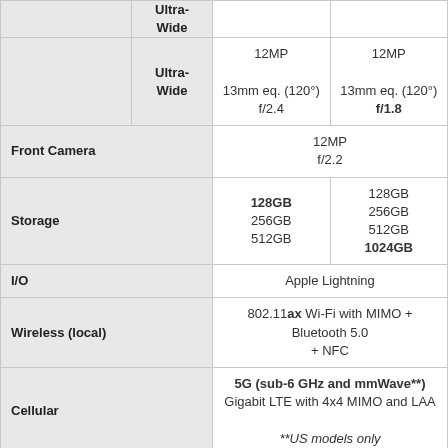| Feature | Sub-feature | iPhone 13 | iPhone 13 Pro |
| --- | --- | --- | --- |
|  | Ultra-Wide | 12MP
13mm eq. (120°)
f/2.4 | 12MP
13mm eq. (120°)
f/1.8 |
| Front Camera |  | 12MP
f/2.2 | 12MP
f/2.2 |
| Storage |  | 128GB
256GB
512GB | 128GB
256GB
512GB
1024GB |
| I/O |  | Apple Lightning | Apple Lightning |
| Wireless (local) |  | 802.11ax Wi-Fi with MIMO + Bluetooth 5.0 + NFC | 802.11ax Wi-Fi with MIMO + Bluetooth 5.0 + NFC |
| Cellular |  | 5G (sub-6 GHz and mmWave**)
Gigabit LTE with 4x4 MIMO and LAA
**US models only | 5G (sub-6 GHz and mmWave**)
Gigabit LTE with 4x4 MIMO and LAA
**US models only |
| Splash, Water, Dust Resistance |  | IP68
up to 6m, up to 30 minutes | IP68
up to 6m, up to 30 minutes |
| Dual-SIM |  | nano-SIM + eSIM | nano-SIM + eSIM |